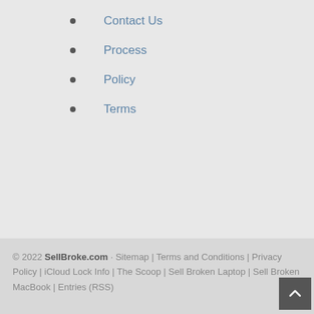Contact Us
Process
Policy
Terms
© 2022 SellBroke.com · Sitemap | Terms and Conditions | Privacy Policy | iCloud Lock Info | The Scoop | Sell Broken Laptop | Sell Broken MacBook | Entries (RSS)